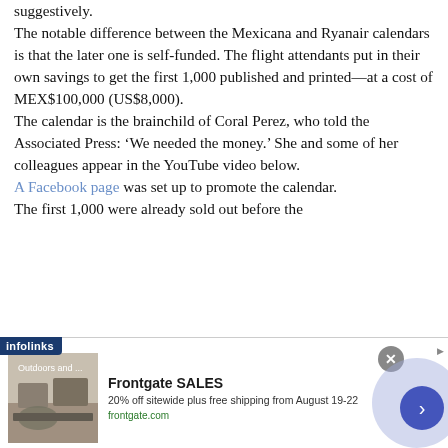suggestively.
The notable difference between the Mexicana and Ryanair calendars is that the later one is self-funded. The flight attendants put in their own savings to get the first 1,000 published and printed—at a cost of MEX$100,000 (US$8,000).
The calendar is the brainchild of Coral Perez, who told the Associated Press: ‘We needed the money.’ She and some of her colleagues appear in the YouTube video below.
A Facebook page was set up to promote the calendar.
The first 1,000 were already sold out before the ... on Thursday. A second printing of 2,000 is
[Figure (screenshot): Frontgate SALES advertisement banner with infolinks badge, outdoor furniture image, ad text '20% off sitewide plus free shipping from August 19-22', frontgate.com URL, close button, and navigation arrow button.]